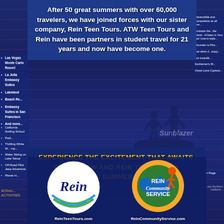After 50 great summers with over 60,000 travelers, we have joined forces with our sister company, Rein Teen Tours. ATW Teen Tours and Rein have been partners in student travel for 21 years and now have become one.
Las Vegas Monte Carlo Resort
La Jolla Embassy Suites
Lakeland
Beach Re...
Embassy Suites in San Francisco
And more...
EXPERIENCE THE EXCITEMENT THAT AWAITS YOU ON ATW AND REIN TEEN TOURS FOR THE SUMMER OF 2022
California Surfing School
Park...
Thrilling White Water...
Water Skiing on Lake Tahoe
Off-Road Pilot Jeep Adventure
Planet H...
[Figure (logo): Rein Teen Tours circular white logo with script Rein text and colorful accent]
[Figure (logo): Rein Community Service circular logo with colorful sun/earth graphic]
ReinTeenTours.com
ReinCommunityService.com